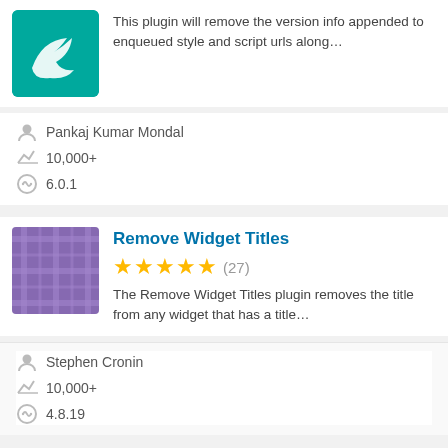This plugin will remove the version info appended to enqueued style and script urls along…
Pankaj Kumar Mondal
10,000+
6.0.1
Remove Widget Titles
★★★★★ (27)
The Remove Widget Titles plugin removes the title from any widget that has a title…
Stephen Cronin
10,000+
4.8.19